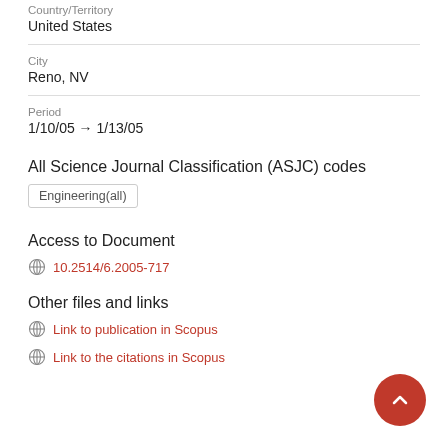Country/Territory
United States
City
Reno, NV
Period
1/10/05 → 1/13/05
All Science Journal Classification (ASJC) codes
Engineering(all)
Access to Document
10.2514/6.2005-717
Other files and links
Link to publication in Scopus
Link to the citations in Scopus